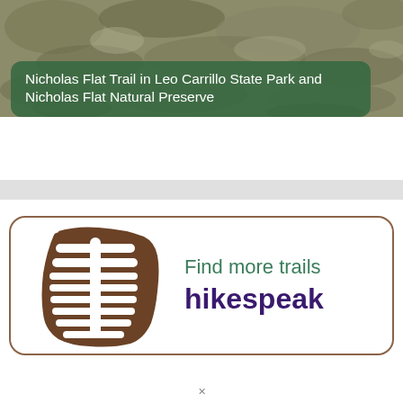[Figure (photo): Aerial/close-up photo of rocky trail terrain with scrubby vegetation, muted greens and grays]
Nicholas Flat Trail in Leo Carrillo State Park and Nicholas Flat Natural Preserve
[Figure (illustration): Hikespeak advertisement box with boot tread icon, text 'Find more trails' and 'hikespeak']